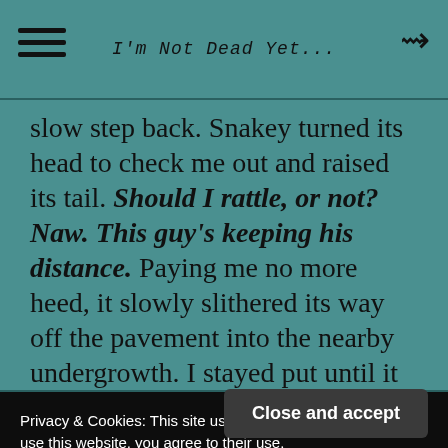I'm Not Dead Yet...
slow step back. Snakey turned its head to check me out and raised its tail. Should I rattle, or not? Naw. This guy's keeping his distance. Paying me no more heed, it slowly slithered its way off the pavement into the nearby undergrowth. I stayed put until it was gone, partly in awe of this beautiful predator
Privacy & Cookies: This site uses cookies. By continuing to use this website, you agree to their use.
To find out more, including how to control cookies, see here: Cookie Policy
Close and accept